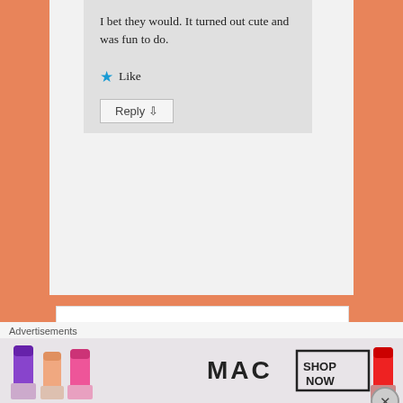I bet they would. It turned out cute and was fun to do.
★ Like
Reply ↓
[Figure (photo): Profile photo of rachel - a woman with dark hair wearing a pink top]
rachel on July 2, 2021 at 6:50 pm
said:
Advertisements
[Figure (photo): MAC cosmetics advertisement showing lipsticks with 'SHOP NOW' button]